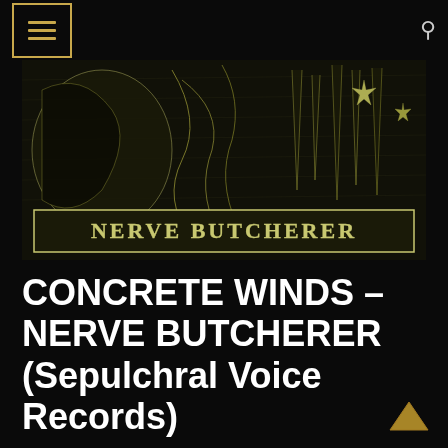Menu / Search navigation bar
[Figure (illustration): Black and white high-contrast album artwork for Nerve Butcherer by Concrete Winds, featuring dark chaotic imagery with the band name NERVE BUTCHERER displayed in a banner at the bottom of the image]
CONCRETE WINDS – NERVE BUTCHERER (Sepulchral Voice Records)